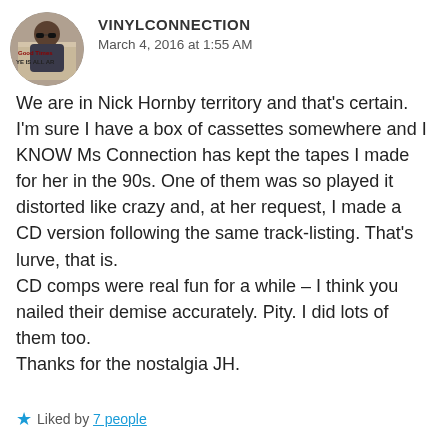[Figure (photo): Circular avatar photo of a person wearing sunglasses, with text 'Good Times YE IS ALL AR' visible in background]
VINYLCONNECTION
March 4, 2016 at 1:55 AM
We are in Nick Hornby territory and that's certain. I'm sure I have a box of cassettes somewhere and I KNOW Ms Connection has kept the tapes I made for her in the 90s. One of them was so played it distorted like crazy and, at her request, I made a CD version following the same track-listing. That's lurve, that is.
CD comps were real fun for a while – I think you nailed their demise accurately. Pity. I did lots of them too.
Thanks for the nostalgia JH.
★ Liked by 7 people